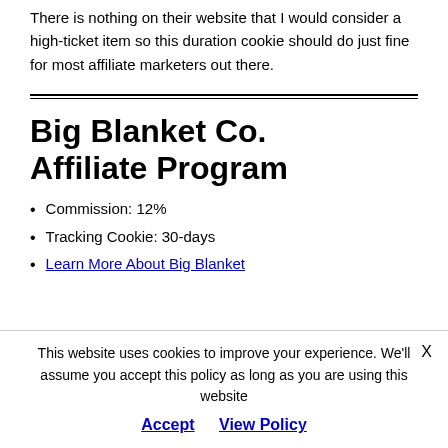The tracking cookie is a standard 30-days. There is nothing on their website that I would consider a high-ticket item so this duration cookie should do just fine for most affiliate marketers out there.
Big Blanket Co. Affiliate Program
Commission: 12%
Tracking Cookie: 30-days
Learn More About Big Blanket
This website uses cookies to improve your experience. We'll assume you accept this policy as long as you are using this website